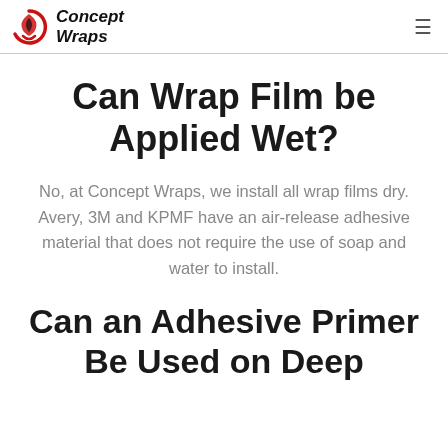Concept Wraps
Can Wrap Film be Applied Wet?
No, at Concept Wraps, we install all wrap films dry. Avery, 3M and KPMF have an air-release adhesive material that does not require the use of soap and water to install.
Can an Adhesive Primer Be Used on Deep